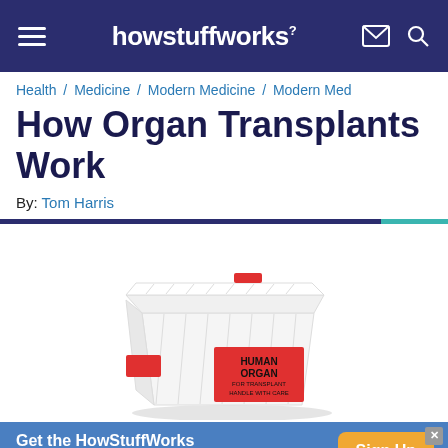howstuffworks
Health / Medicine / Modern Medicine / Modern Med
How Organ Transplants Work
By: Tom Harris
[Figure (photo): White insulated organ transport container with a red label reading HUMAN ORGAN FOR TRANSPLANT HANDLE WITH CARE]
Get the HowStuffWorks Newsletter! Sign Up